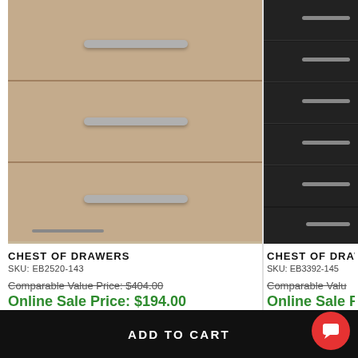[Figure (photo): Light wood chest of drawers with silver bar handles, three visible drawers]
CHEST OF DRAWERS
SKU: EB2520-143
Comparable Value Price: $404.00
Online Sale Price: $194.00
[Figure (photo): Black chest of drawers with silver bar handles, multiple drawers visible]
CHEST OF DRAWERS
SKU: EB3392-145
Comparable Value Price: (partially visible)
Online Sale Price: (partially visible)
SHOP MORE CHEST · CHEST OF DRAWERS
ADD TO CART